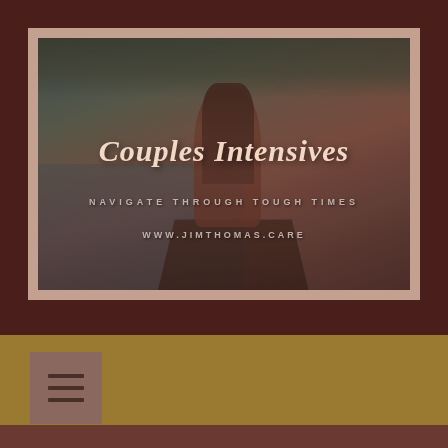[Figure (photo): A person with long hair sitting in a canoe on a lake with forested hills in the background, overlaid with semi-transparent tint. Text reads 'Couples Intensives', 'NAVIGATE THROUGH TOUGH TIMES', 'WWW.JIMTHOMAS.CARE']
Couples Intensives
NAVIGATE THROUGH TOUGH TIMES
WWW.JIMTHOMAS.CARE